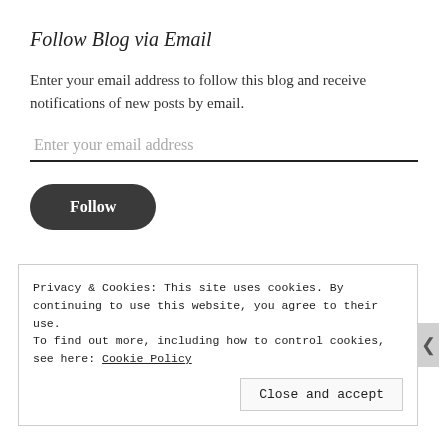Follow Blog via Email
Enter your email address to follow this blog and receive notifications of new posts by email.
Enter your email address
Follow
Join 311 other followers
Privacy & Cookies: This site uses cookies. By continuing to use this website, you agree to their use.
To find out more, including how to control cookies, see here: Cookie Policy
Close and accept